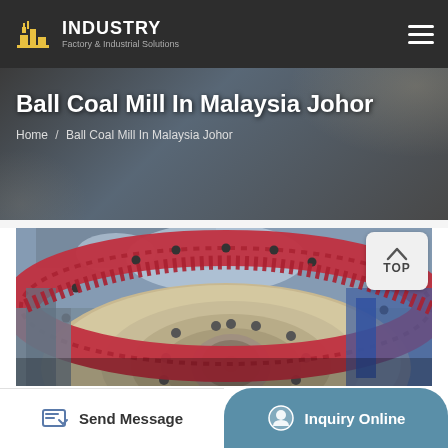INDUSTRY — Factory & Industrial Solutions
Ball Coal Mill In Malaysia Johor
Home / Ball Coal Mill In Malaysia Johor
[Figure (photo): Industrial ball coal mill machinery showing large red and beige gear/drum assembly in a factory setting]
Send Message
Inquiry Online